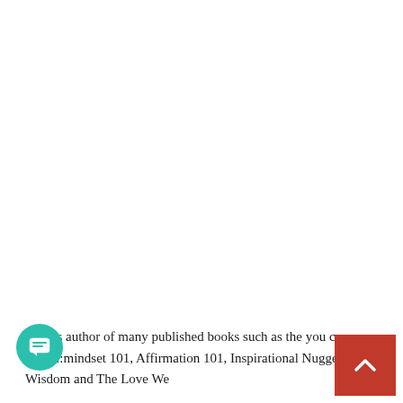1 She is author of many published books such as the you can series::mindset 101, Affirmation 101, Inspirational Nuggets of Wisdom and The Love We